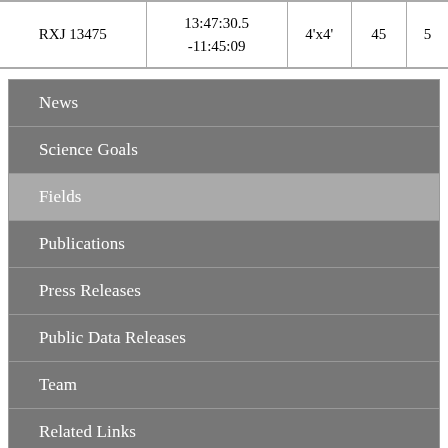| RXJ 13475 | 13:47:30.5
-11:45:09 | 4'x4' | 45 | 5 |
News
Science Goals
Fields
Publications
Press Releases
Public Data Releases
Team
Related Links